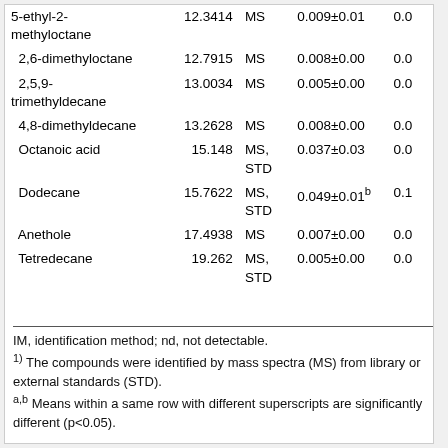| Compound | RT | IM | Value1 | Value2 |
| --- | --- | --- | --- | --- |
| 5-ethyl-2-methyloctane | 12.3414 | MS | 0.009±0.01 | 0.0 |
| 2,6-dimethyloctane | 12.7915 | MS | 0.008±0.00 | 0.0 |
| 2,5,9-trimethyldecane | 13.0034 | MS | 0.005±0.00 | 0.0 |
| 4,8-dimethyldecane | 13.2628 | MS | 0.008±0.00 | 0.0 |
| Octanoic acid | 15.148 | MS, STD | 0.037±0.03 | 0.0 |
| Dodecane | 15.7622 | MS, STD | 0.049±0.01b | 0.1 |
| Anethole | 17.4938 | MS | 0.007±0.00 | 0.0 |
| Tetredecane | 19.262 | MS, STD | 0.005±0.00 | 0.0 |
IM, identification method; nd, not detectable. 1) The compounds were identified by mass spectra (MS) from library or external standards (STD). a,b Means within a same row with different superscripts are significantly different (p<0.05).